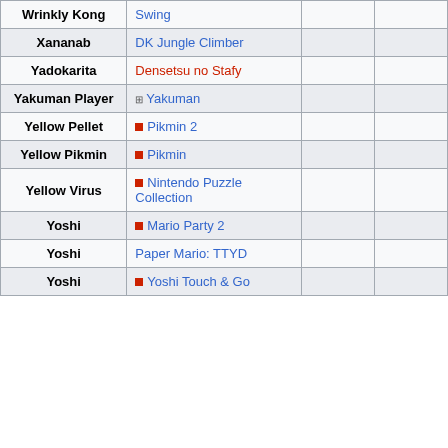| Character | Game |  |  |
| --- | --- | --- | --- |
| Wrinkly Kong | Swing |  |  |
| Xananab | DK Jungle Climber |  |  |
| Yadokarita | Densetsu no Stafy |  |  |
| Yakuman Player | ⊞ Yakuman |  |  |
| Yellow Pellet | ▪ Pikmin 2 |  |  |
| Yellow Pikmin | ▪ Pikmin |  |  |
| Yellow Virus | ▪ Nintendo Puzzle Collection |  |  |
| Yoshi | ▪ Mario Party 2 |  |  |
| Yoshi | Paper Mario: TTYD |  |  |
| Yoshi | ▪ Yoshi Touch & Go |  |  |